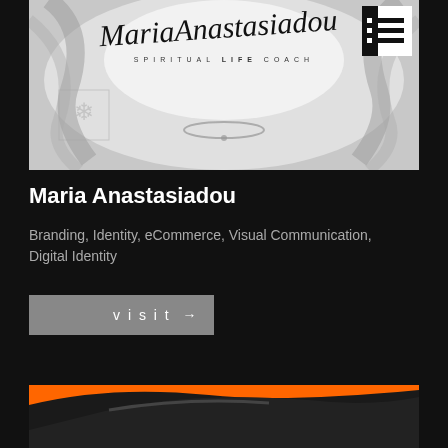[Figure (photo): Black and white portrait photo of a woman with blonde hair, wearing jewelry. Script text 'Maria Anastasiadou' overlaid at top with 'SPIRITUAL LIFE COACH' subtitle. Hamburger menu icon in top right corner.]
Maria Anastasiadou
Branding, Identity, eCommerce, Visual Communication, Digital Identity
visit →
[Figure (photo): Partial view of what appears to be a dark product or object on an orange background, only top portion visible.]